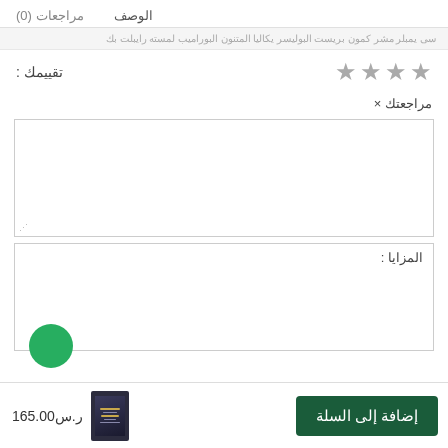الوصف  مراجعات (0)
سى يمبلر مشر كمون بريست البوليسر يكاليا المتنون البوراميب لمسته رايبلت بك
تقييمك :
[Figure (other): Four grey star icons for rating]
مراجعتك ×
المزايا :
إضافة إلى السلة   ر.س165.00